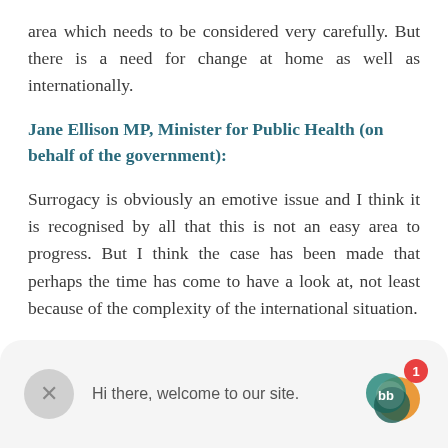area which needs to be considered very carefully. But there is a need for change at home as well as internationally.
Jane Ellison MP, Minister for Public Health (on behalf of the government):
Surrogacy is obviously an emotive issue and I think it is recognised by all that this is not an easy area to progress. But I think the case has been made that perhaps the time has come to have a look at, not least because of the complexity of the international situation.
[Figure (screenshot): Chat widget overlay at the bottom of the page with a close (X) button, 'Hi there, welcome to our site.' text, and a circular chat icon with a red badge showing '1'.]